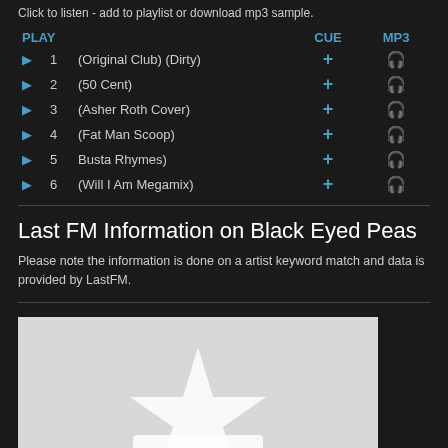Click to listen - add to playlist or download mp3 sample.
| PLAY |  |  | CUE | MP3 |
| --- | --- | --- | --- | --- |
| ▶ | 1 | (Original Club) (Dirty) | + | 🎧 |
| ▶ | 2 | (50 Cent) | + | 🎧 |
| ▶ | 3 | (Asher Roth Cover) | + | 🎧 |
| ▶ | 4 | (Fat Man Scoop) | + | 🎧 |
| ▶ | 5 | Busta Rhymes) | + | 🎧 |
| ▶ | 6 | (Will I Am Megamix) | + | 🎧 |
Last FM Information on Black Eyed Peas
Please note the information is done on a artist keyword match and data is provided by LastFM.
[Figure (illustration): Light gray placeholder image with a white star/asterisk silhouette shape centered in it]